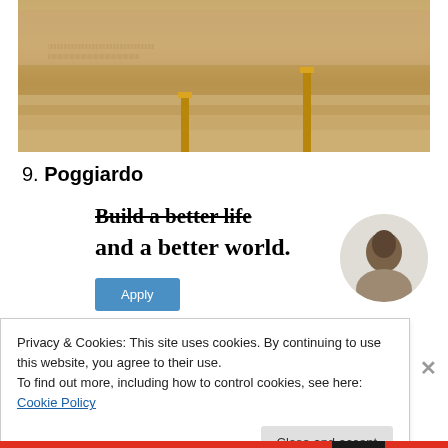[Figure (photo): Ornate stone architectural frieze with carved figures and decorative reliefs, with gold candlesticks in the foreground]
9. Poggiardo
[Figure (infographic): Advertisement overlay with strikethrough text and 'and a better world.' headline, Apply button, and circular photo of a man]
Privacy & Cookies: This site uses cookies. By continuing to use this website, you agree to their use.
To find out more, including how to control cookies, see here: Cookie Policy
Close and accept